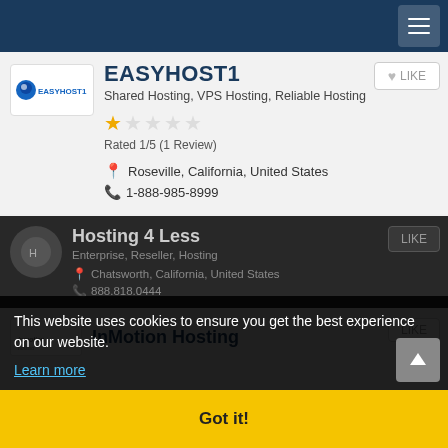Navigation bar with hamburger menu
EASYHOST1
Shared Hosting, VPS Hosting, Reliable Hosting
Rated 1/5 (1 Review)
Roseville, California, United States
1-888-985-8999
Hosting 4 Less
Chatsworth, California, United States
888.818.0444
InMotion Hosting
This website uses cookies to ensure you get the best experience on our website.
Learn more
Got it!